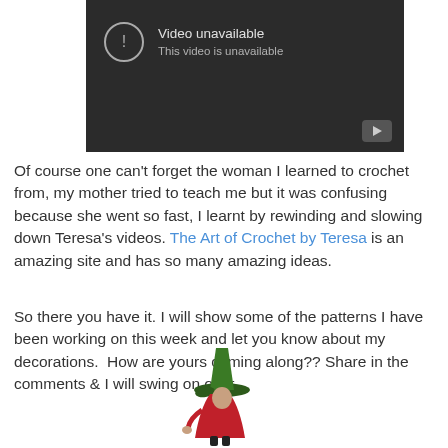[Figure (screenshot): YouTube video player showing 'Video unavailable - This video is unavailable' error message on a dark background with a play button in the bottom right corner.]
Of course one can't forget the woman I learned to crochet from, my mother tried to teach me but it was confusing because she went so fast, I learnt by rewinding and slowing down Teresa's videos. The Art of Crochet by Teresa is an amazing site and has so many amazing ideas.
So there you have it. I will show some of the patterns I have been working on this week and let you know about my decorations.  How are yours coming along?? Share in the comments & I will swing on over.
[Figure (illustration): Small illustration of a witch figure in red and black wearing a green hat, partially visible at the bottom of the page.]